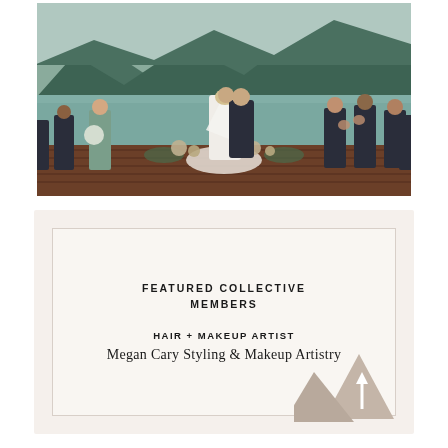[Figure (photo): Wedding ceremony on a wooden dock by a lake. Bride and groom kissing in the center, surrounded by bridesmaids in sage/teal dresses and groomsmen in navy suits. Wooded mountain visible in background.]
FEATURED COLLECTIVE MEMBERS
HAIR + MAKEUP ARTIST
Megan Cary Styling & Makeup Artistry